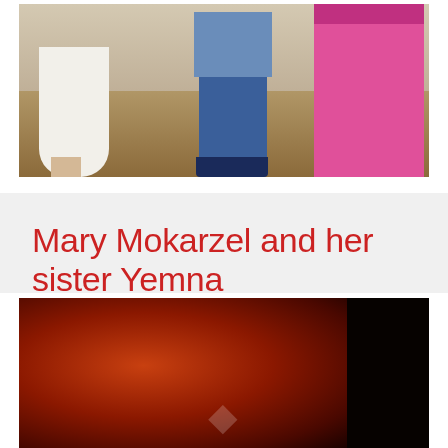[Figure (photo): A partial photograph showing people from waist down: a person in a white dress on the left, a person in blue jeans and blue shirt in the center with dark shoes, and a person in pink pants on the right. The setting appears to be indoors on a patterned carpet.]
Mary Mokarzel and her sister Yemna
A photo of Mary Mokarzel (left) with her sister Yemna. (Folder 2-1-3-10)
Tags: Mary Mokarzel; Mokarzel; Yemna Mokarzel
[Figure (photo): A dark reddish-orange photograph, heavily underexposed or damaged, with a white watermark/stamp overlay. The image appears to show very little detail due to the dark and reddish coloration.]